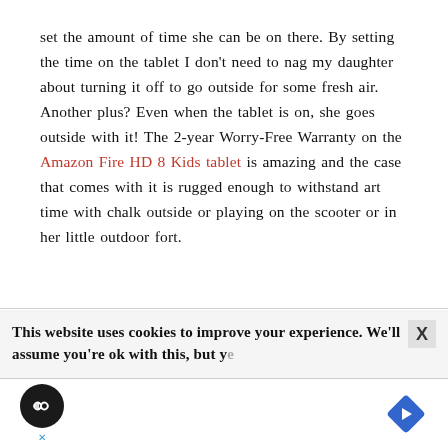set the amount of time she can be on there. By setting the time on the tablet I don't need to nag my daughter about turning it off to go outside for some fresh air. Another plus? Even when the tablet is on, she goes outside with it! The 2-year Worry-Free Warranty on the Amazon Fire HD 8 Kids tablet is amazing and the case that comes with it is rugged enough to withstand art time with chalk outside or playing on the scooter or in her little outdoor fort.
This website uses cookies to improve your experience. We'll assume you're ok with this, but ye
[Figure (other): Advertisement bar with play button icon (black circle with infinity/loop symbol), an X close marker in blue, and a blue diamond navigation arrow icon on the right.]